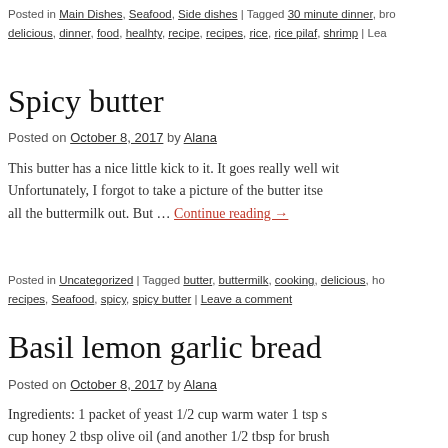Posted in Main Dishes, Seafood, Side dishes | Tagged 30 minute dinner, bro delicious, dinner, food, healhty, recipe, recipes, rice, rice pilaf, shrimp | Lea
Spicy butter
Posted on October 8, 2017 by Alana
This butter has a nice little kick to it. It goes really well wit Unfortunately, I forgot to take a picture of the butter itse all the buttermilk out. But … Continue reading →
Posted in Uncategorized | Tagged butter, buttermilk, cooking, delicious, ho recipes, Seafood, spicy, spicy butter | Leave a comment
Basil lemon garlic bread
Posted on October 8, 2017 by Alana
Ingredients: 1 packet of yeast 1/2 cup warm water 1 tsp s cup honey 2 tbsp olive oil (and another 1/2 tbsp for brush b dl b d 2 tb l d Continue reading